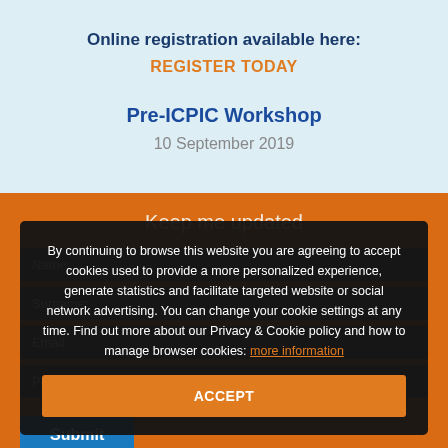Online registration available here:
REGISTER TODAY
Pre-ICPIC Workshop
10 September 2019
Keep me updated
Name:
Surname:
Email:
Phone Number
By continuing to browse this website you are agreeing to accept cookies used to provide a more personalized experience, generate statistics and facilitate targeted website or social network advertising. You can change your cookie settings at any time. Find out more about our Privacy & Cookie policy and how to manage browser cookies: more information
ACCEPT
Submit